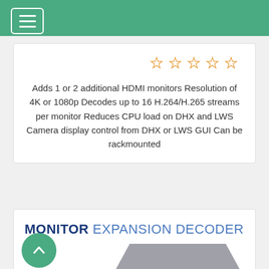Navigation menu header bar
Adds 1 or 2 additional HDMI monitors Resolution of 4K or 1080p Decodes up to 16 H.264/H.265 streams per monitor Reduces CPU load on DHX and LWS Camera display control from DHX or LWS GUI Can be rackmounted
MONITOR EXPANSION DECODER